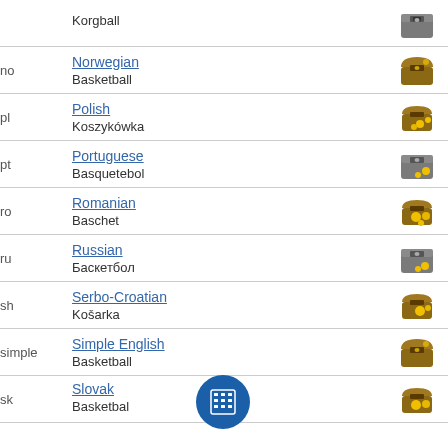| code | language | icon |
| --- | --- | --- |
|  | Korgball |  |
| no | Norwegian / Basketball |  |
| pl | Polish / Koszykówka |  |
| pt | Portuguese / Basquetebol |  |
| ro | Romanian / Baschet |  |
| ru | Russian / Баскетбол |  |
| sh | Serbo-Croatian / Košarka |  |
| simple | Simple English / Basketball |  |
| sk | Slovak / Basketbal |  |